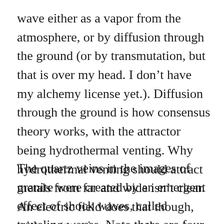wave either as a vapor from the atmosphere, or by diffusion through the ground (or by transmutation, but that is over my head. I don't have my alchemy license yet.). Diffusion through the ground is how consensus theory works, with the attractor being hydrothermal venting. Why hydrothermal venting should attract metals from far and wide isn't clear. An electric field does that though, without question, so our theory is already better if Occam's razor means anything.
The quartz veins in the images of granite were created by an emergent effect of shock waves, called traveling waves. Note there are four with on star in (and here is).